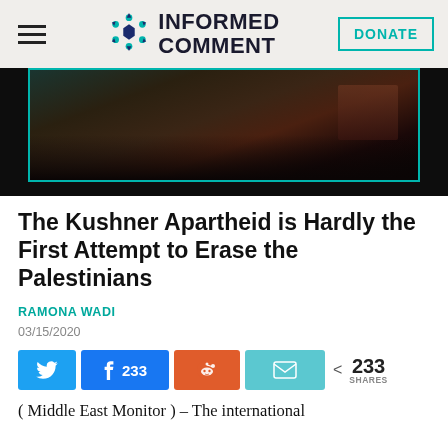INFORMED COMMENT — DONATE
[Figure (photo): Dark hero image showing silhouettes and a street scene at dusk, with a teal border frame]
The Kushner Apartheid is Hardly the First Attempt to Erase the Palestinians
RAMONA WADI
03/15/2020
< 233 SHARES (Twitter, Facebook 233, Reddit, Email share buttons)
( Middle East Monitor ) – The international